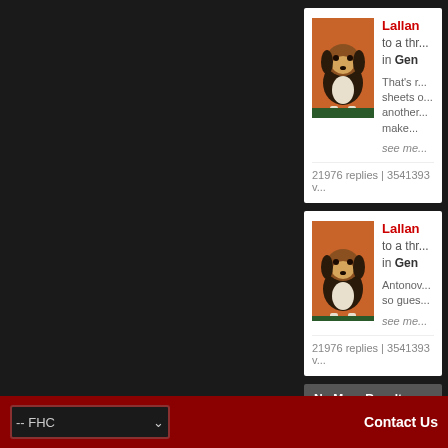[Figure (screenshot): Forum thread card 1 with beagle puppy thumbnail, username Lallan, posted in Gen forum, preview text about sheets, see more link, 21976 replies | 3541393 views]
[Figure (screenshot): Forum thread card 2 with beagle puppy thumbnail, username Lallan, posted in Gen forum, preview text about Antonov, so gues..., see more link, 21976 replies | 3541393 views]
No More Results
-- FHC
Contact Us